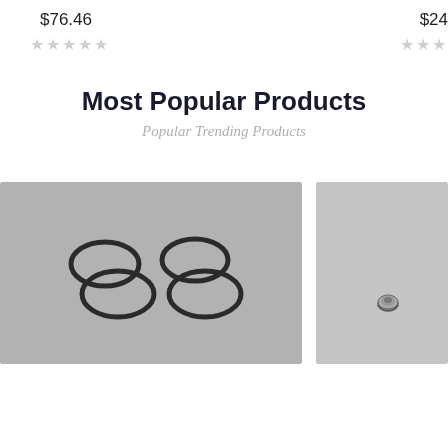$76.46
$24
★★★★★ (stars, empty/gray)
★★★ (stars, partial, gray)
Most Popular Products
Popular Trending Products
[Figure (photo): Four black O-rings arranged in two pairs on a gray surface]
[Figure (photo): Gray surface with a small metallic screw or button in the lower center area]